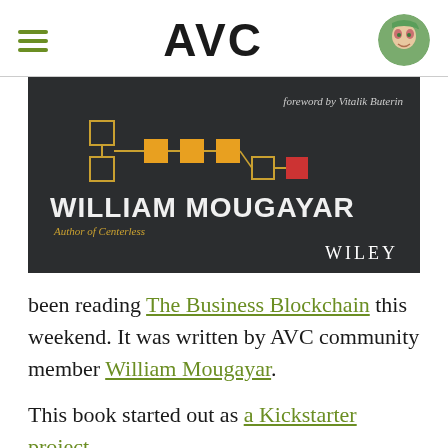AVC
[Figure (illustration): Book cover for 'The Business Blockchain' by William Mougayar, published by Wiley, with foreword by Vitalik Buterin. Dark background with blockchain diagram in gold/orange squares connected by lines. Red square at end.]
been reading The Business Blockchain this weekend. It was written by AVC community member William Mougayar.
This book started out as a Kickstarter project